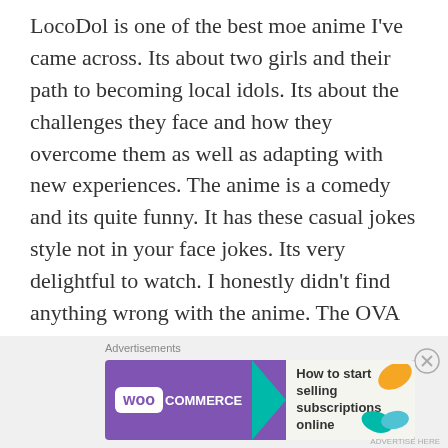LocoDol is one of the best moe anime I've came across. Its about two girls and their path to becoming local idols. Its about the challenges they face and how they overcome them as well as adapting with new experiences. The anime is a comedy and its quite funny. It has these casual jokes style not in your face jokes. Its very delightful to watch. I honestly didn't find anything wrong with the anime. The OVA were quite amazing as well. Oh the anime is more about the town itself than the girls. That was the interesting part for me. Overall it was a good anime. I recommend you check it out.
[Figure (other): WooCommerce advertisement banner with logo, teal arrow shape, and text 'How to start selling subscriptions online'. Decorative orange and teal/blue leaf shapes on the right side.]